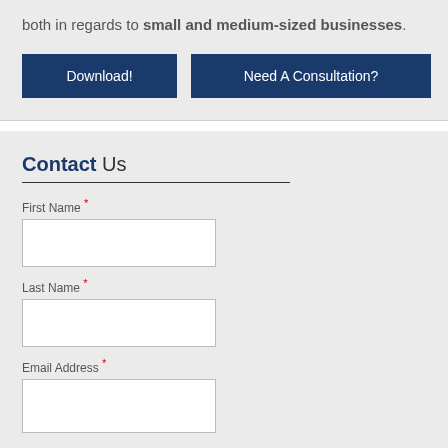both in regards to small and medium-sized businesses.
Download!
Need A Consultation?
Contact Us
First Name *
Last Name *
Email Address *